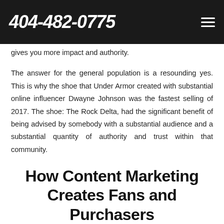404-482-0775
gives you more impact and authority.
The answer for the general population is a resounding yes. This is why the shoe that Under Armor created with substantial online influencer Dwayne Johnson was the fastest selling of 2017. The shoe: The Rock Delta, had the significant benefit of being advised by somebody with a substantial audience and a substantial quantity of authority and trust within that community.
How Content Marketing Creates Fans and Purchasers